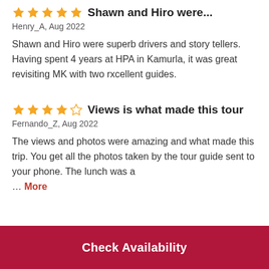Shawn and Hiro were...
Henry_A, Aug 2022
Shawn and Hiro were superb drivers and story tellers. Having spent 4 years at HPA in Kamurla, it was great revisiting MK with two rxcellent guides.
Views is what made this tour
Fernando_Z, Aug 2022
The views and photos were amazing and what made this trip. You get all the photos taken by the tour guide sent to your phone. The lunch was a … More
Check Availability